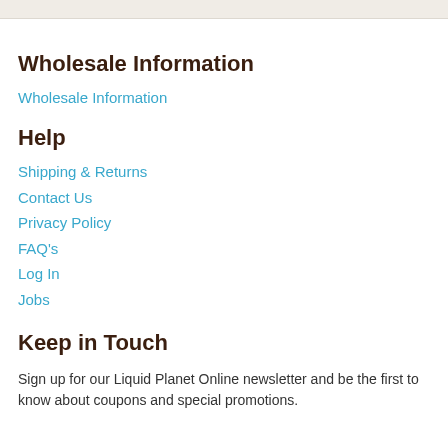Wholesale Information
Wholesale Information
Help
Shipping & Returns
Contact Us
Privacy Policy
FAQ's
Log In
Jobs
Keep in Touch
Sign up for our Liquid Planet Online newsletter and be the first to know about coupons and special promotions.